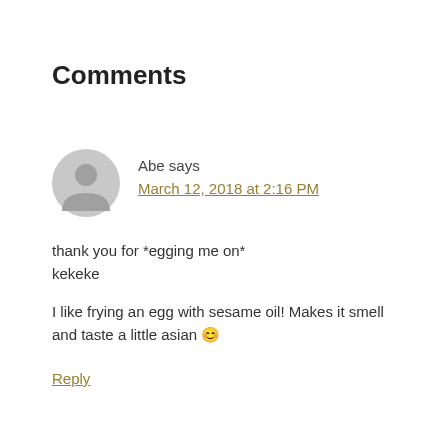Comments
[Figure (illustration): Gray circular avatar/placeholder icon showing a silhouette of a person (head and shoulders)]
Abe says
March 12, 2018 at 2:16 PM
thank you for *egging me on*
kekeke

I like frying an egg with sesame oil! Makes it smell and taste a little asian 😊
Reply